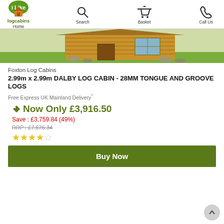iLike logcabins — Home | Search | Basket | Call Us
[Figure (photo): Photo of a wooden log cabin (Dalby model) with green grass surroundings, partial view of roof and side wall]
Foxton Log Cabins
2.99m x 2.99m DALBY LOG CABIN - 28MM TONGUE AND GROOVE LOGS
Free Express UK Mainland Delivery*
Now Only £3,916.50
Save : £3,759.84 (49%)
RRP : £7,676.34
★★★★☆ (4 out of 5 stars)
Buy Now